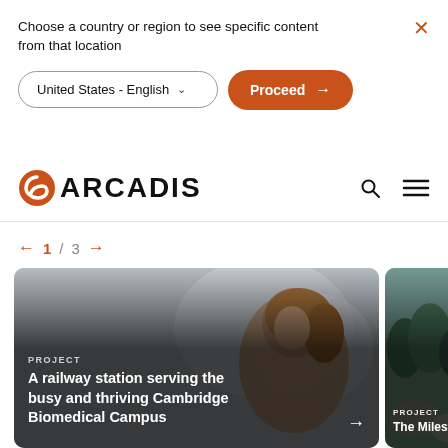Choose a country or region to see specific content from that location
[Figure (screenshot): Dropdown selector showing 'United States - English' with a chevron, and an orange 'Proceed →' button]
[Figure (logo): Arcadis logo: orange spiral icon followed by bold black 'ARCADIS' text, with search and hamburger menu icons on the right]
← 1 / 3 →
[Figure (photo): Photo of a woman looking upward with blurred aircraft background. Card reads 'PROJECT' and 'A railway station serving the busy and thriving Cambridge Biomedical Campus' with an arrow]
[Figure (photo): Partial photo card with forest/rocky landscape background. Card reads 'PROJECT' and 'The Milest...']